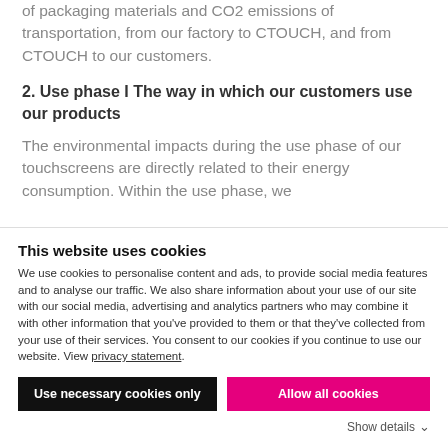of packaging materials and CO2 emissions of transportation, from our factory to CTOUCH, and from CTOUCH to our customers.
2. Use phase I The way in which our customers use our products
The environmental impacts during the use phase of our touchscreens are directly related to their energy consumption. Within the use phase, we
This website uses cookies
We use cookies to personalise content and ads, to provide social media features and to analyse our traffic. We also share information about your use of our site with our social media, advertising and analytics partners who may combine it with other information that you've provided to them or that they've collected from your use of their services. You consent to our cookies if you continue to use our website. View privacy statement.
Use necessary cookies only
Allow all cookies
Show details